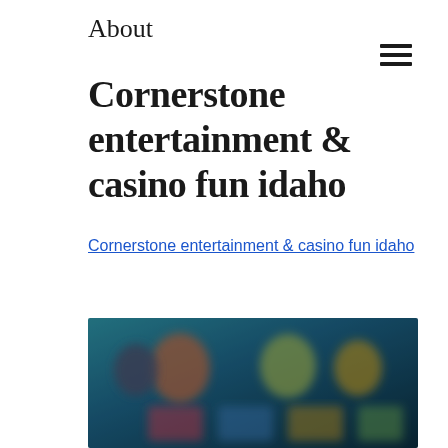About
Cornerstone entertainment & casino fun idaho
Cornerstone entertainment & casino fun idaho
[Figure (screenshot): Blurred screenshot of a casino or gaming entertainment interface showing colorful character icons and game thumbnails with teal/blue background]